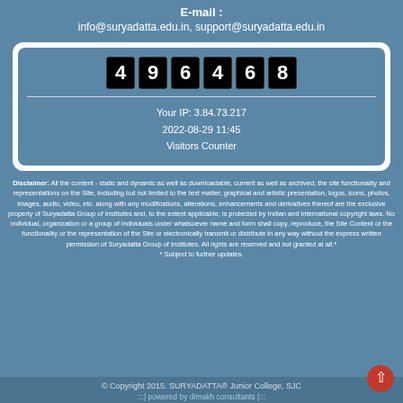E-mail :
info@suryadatta.edu.in, support@suryadatta.edu.in
[Figure (other): Visitor counter widget showing number 496468, IP address 3.84.73.217, date 2022-08-29 11:45, and label Visitors Counter]
Disclaimer: All the content - static and dynamic as well as downloadable, current as well as archived, the site functionality and representations on the Site, including but not limited to the text matter, graphical and artistic presentation, logos, icons, photos, images, audio, video, etc. along with any modifications, alterations, enhancements and derivatives thereof are the exclusive property of Suryadatta Group of Institutes and, to the extent applicable, is protected by Indian and international copyright laws. No individual, organization or a group of individuals under whatsoever name and form shall copy, reproduce, the Site Content or the functionality or the representation of the Site or electronically transmit or distribute in any way without the express written permission of Suryadatta Group of Institutes. All rights are reserved and not granted at all.* 
* Subject to further updates.
© Copyright 2015. SURYADATTA® Junior College, SJC
:::| powered by dimakh consultants |:::